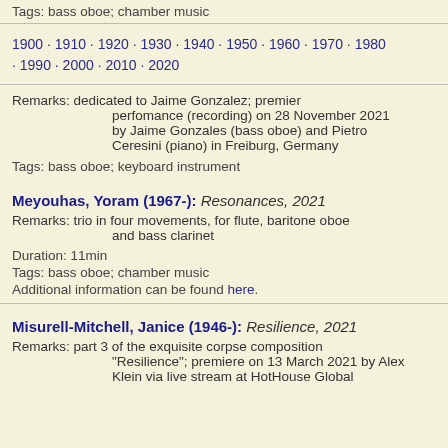Tags: bass oboe; chamber music
1900 · 1910 · 1920 · 1930 · 1940 · 1950 · 1960 · 1970 · 1980 · 1990 · 2000 · 2010 · 2020
Remarks: dedicated to Jaime Gonzalez; premier perfomance (recording) on 28 November 2021 by Jaime Gonzales (bass oboe) and Pietro Ceresini (piano) in Freiburg, Germany
Tags: bass oboe; keyboard instrument
Meyouhas, Yoram (1967-): Resonances, 2021
Remarks: trio in four movements, for flute, baritone oboe and bass clarinet
Duration: 11min
Tags: bass oboe; chamber music
Additional information can be found here.
Misurell-Mitchell, Janice (1946-): Resilience, 2021
Remarks: part 3 of the exquisite corpse composition "Resilience"; premiere on 13 March 2021 by Alex Klein via live stream at HotHouse Global